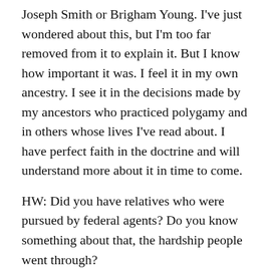Joseph Smith or Brigham Young. I've just wondered about this, but I'm too far removed from it to explain it. But I know how important it was. I feel it in my own ancestry. I see it in the decisions made by my ancestors who practiced polygamy and in others whose lives I've read about. I have perfect faith in the doctrine and will understand more about it in time to come.
HW: Did you have relatives who were pursued by federal agents? Do you know something about that, the hardship people went through?
DHO: My great-grandfather, Charles